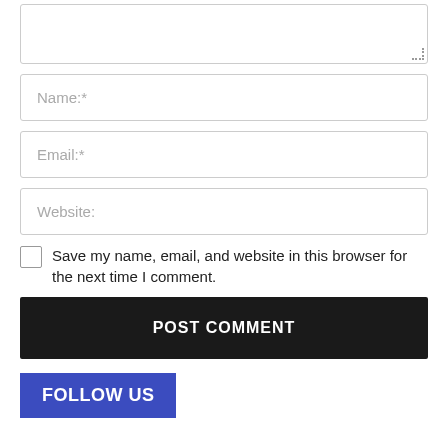[Figure (screenshot): A textarea (comment input box) with a resize handle in the bottom right corner, partially visible at the top of the page.]
Name:*
Email:*
Website:
Save my name, email, and website in this browser for the next time I comment.
POST COMMENT
FOLLOW US